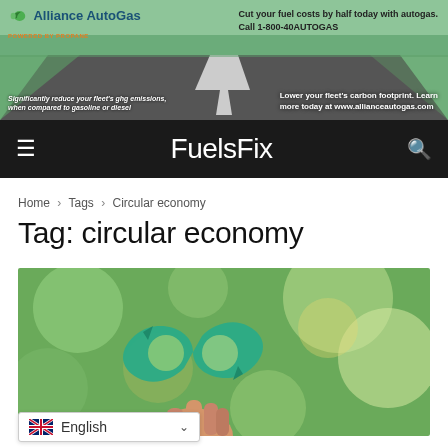[Figure (photo): Alliance AutoGas advertisement banner showing a road, with text: Cut your fuel costs by half today with autogas. Call 1-800-40AUTOGAS. Significantly reduce your fleet's ghg emissions, when compared to gasoline or diesel. Lower your fleet's carbon footprint. Learn more today at www.allianceautogas.com]
FuelsFix
Home › Tags › Circular economy
Tag: circular economy
[Figure (photo): A hand holding a green circular economy infinity/recycling arrow symbol against a bokeh green background]
English